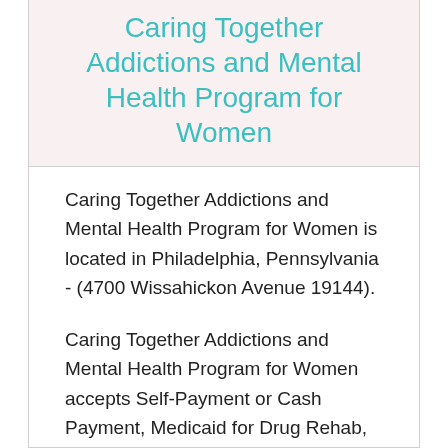Caring Together Addictions and Mental Health Program for Women
Caring Together Addictions and Mental Health Program for Women is located in Philadelphia, Pennsylvania - (4700 Wissahickon Avenue 19144).
Caring Together Addictions and Mental Health Program for Women accepts Self-Payment or Cash Payment, Medicaid for Drug Rehab, Medicare for Alcohol and Drug Treatment for the following programs that they provides, like Cognitive Based Therapy, Relapse Risk Reduction, 12-Step Facilitation Approach. It provides its services in different environments, including Outpatient Drug